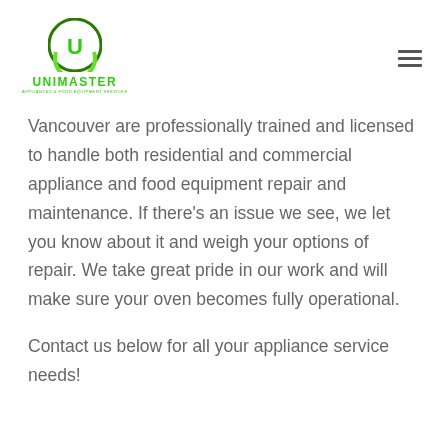UNIMASTER APPLIANCES & FOOD EQUIPMENT SERVICES
Vancouver are professionally trained and licensed to handle both residential and commercial appliance and food equipment repair and maintenance. If there's an issue we see, we let you know about it and weigh your options of repair. We take great pride in our work and will make sure your oven becomes fully operational.
Contact us below for all your appliance service needs!